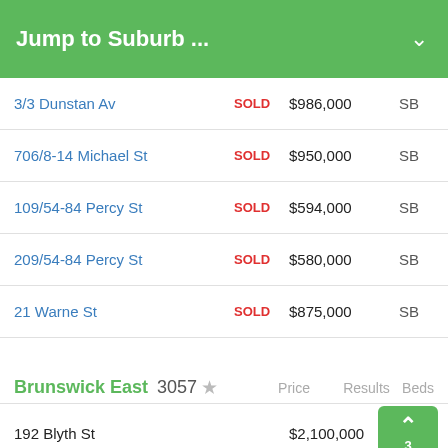Jump to Suburb ...
3/3 Dunstan Av | SOLD | $986,000 | SB | 3
706/8-14 Michael St | SOLD | $950,000 | SB | 2
109/54-84 Percy St | SOLD | $594,000 | SB | 2
209/54-84 Percy St | SOLD | $580,000 | SB | 2
21 Warne St | SOLD | $875,000 | SB | 3
Brunswick East 3057 | Price | Results | Beds
192 Blyth St | $2,100,000 | PI | 3
1401/176 Edward St | SOLD | $390,000 | SB | 1